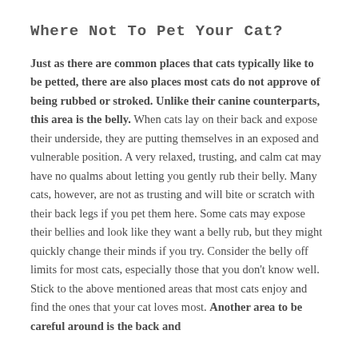Where Not To Pet Your Cat?
Just as there are common places that cats typically like to be petted, there are also places most cats do not approve of being rubbed or stroked. Unlike their canine counterparts, this area is the belly. When cats lay on their back and expose their underside, they are putting themselves in an exposed and vulnerable position. A very relaxed, trusting, and calm cat may have no qualms about letting you gently rub their belly. Many cats, however, are not as trusting and will bite or scratch with their back legs if you pet them here. Some cats may expose their bellies and look like they want a belly rub, but they might quickly change their minds if you try. Consider the belly off limits for most cats, especially those that you don't know well. Stick to the above mentioned areas that most cats enjoy and find the ones that your cat loves most. Another area to be careful around is the back and